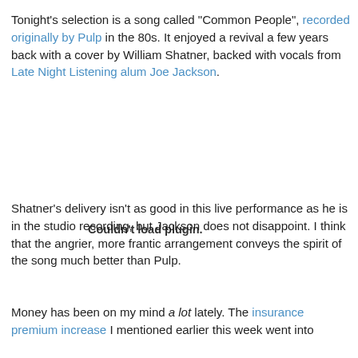Tonight's selection is a song called "Common People", recorded originally by Pulp in the 80s. It enjoyed a revival a few years back with a cover by William Shatner, backed with vocals from Late Night Listening alum Joe Jackson.
[Figure (other): Embedded media plugin placeholder showing 'Couldn't load plugin.']
Shatner's delivery isn't as good in this live performance as he is in the studio recording, but Jackson does not disappoint. I think that the angrier, more frantic arrangement conveys the spirit of the song much better than Pulp.
Money has been on my mind a lot lately. The insurance premium increase I mentioned earlier this week went into